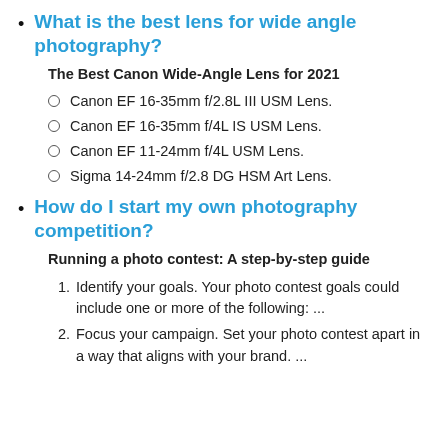What is the best lens for wide angle photography?
The Best Canon Wide-Angle Lens for 2021
Canon EF 16-35mm f/2.8L III USM Lens.
Canon EF 16-35mm f/4L IS USM Lens.
Canon EF 11-24mm f/4L USM Lens.
Sigma 14-24mm f/2.8 DG HSM Art Lens.
How do I start my own photography competition?
Running a photo contest: A step-by-step guide
Identify your goals. Your photo contest goals could include one or more of the following: ...
Focus your campaign. Set your photo contest apart in a way that aligns with your brand. ...